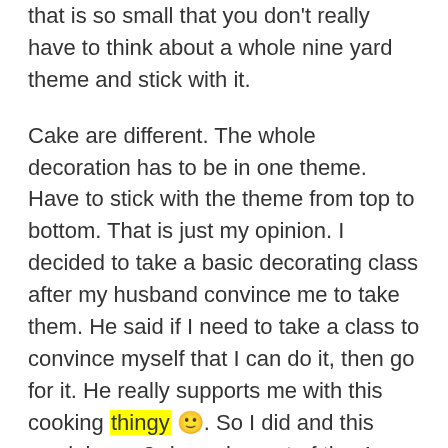that is so small that you don't really have to think about a whole nine yard theme and stick with it.
Cake are different. The whole decoration has to be in one theme. Have to stick with the theme from top to bottom. That is just my opinion. I decided to take a basic decorating class after my husband convince me to take them. He said if I need to take a class to convince myself that I can do it, then go for it. He really supports me with this cooking thingy 🙂. So I did and this week is my 3rd session out of the 4 sessions of basic cake decorating class at Wilton. I am going to the next one for gum paste and then fondant. Though I have been making or should I say baking for friends and family. My, again, co-